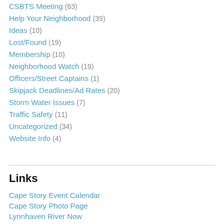CSBTS Meeting (63)
Help Your Neighborhood (39)
Ideas (10)
Lost/Found (19)
Membership (10)
Neighborhood Watch (19)
Officers/Street Captains (1)
Skipjack Deadlines/Ad Rates (20)
Storm Water Issues (7)
Traffic Safety (11)
Uncategorized (34)
Website Info (4)
Links
Cape Story Event Calendar
Cape Story Photo Page
Lynnhaven River Now
SDCC.info